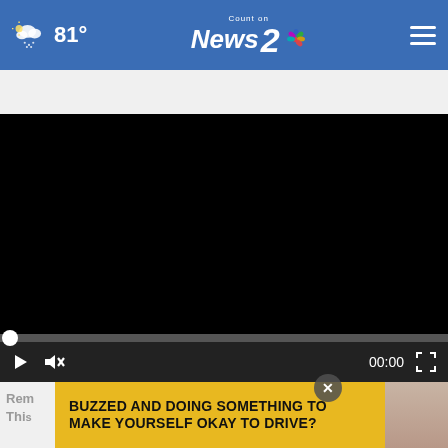[Figure (screenshot): Navigation bar with weather icon showing 81°, Count on News 2 NBC logo centered, and hamburger menu on right, on blue background]
House Leaders optimistic for Senate bipartisan gu...
[Figure (screenshot): Black video player with progress bar at zero and controls showing play button, mute button, timestamp 00:00, and fullscreen button]
[Figure (photo): Partial view of a woman's face from nose down, with hand raised near face]
BUZZED AND DOING SOMETHING TO MAKE YOURSELF OKAY TO DRIVE?
Rem... This...